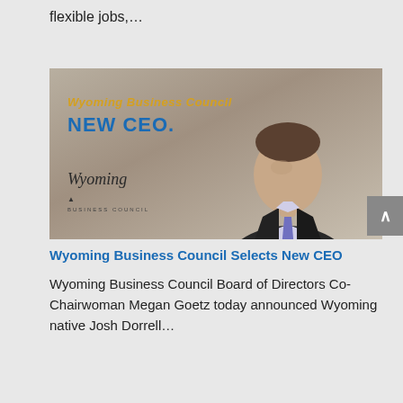flexible jobs,…
[Figure (photo): Wyoming Business Council New CEO promotional image with a professional man in a suit and tie, with text overlay reading 'Wyoming Business Council NEW CEO' and Wyoming Business Council logo]
Wyoming Business Council Selects New CEO
Wyoming Business Council Board of Directors Co-Chairwoman Megan Goetz today announced Wyoming native Josh Dorrell…